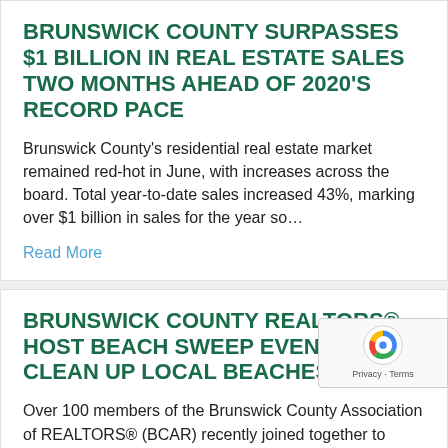BRUNSWICK COUNTY SURPASSES $1 BILLION IN REAL ESTATE SALES TWO MONTHS AHEAD OF 2020'S RECORD PACE
Brunswick County's residential real estate market remained red-hot in June, with increases across the board. Total year-to-date sales increased 43%, marking over $1 billion in sales for the year so…
Read More
BRUNSWICK COUNTY REALTORS® HOST BEACH SWEEP EVENT TO CLEAN UP LOCAL BEACHES
Over 100 members of the Brunswick County Association of REALTORS® (BCAR) recently joined together to clean up Brunswick County's beaches. Over the course of two days, teams of BCAR…
Read More